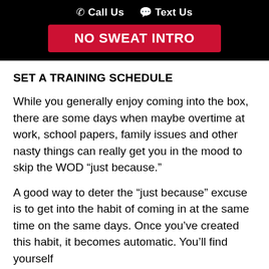Call Us   Text Us
[Figure (other): Red button labeled NO SWEAT INTRO]
SET A TRAINING SCHEDULE
While you generally enjoy coming into the box, there are some days when maybe overtime at work, school papers, family issues and other nasty things can really get you in the mood to skip the WOD “just because.”
A good way to deter the “just because” excuse is to get into the habit of coming in at the same time on the same days. Once you’ve created this habit, it becomes automatic. You’ll find yourself